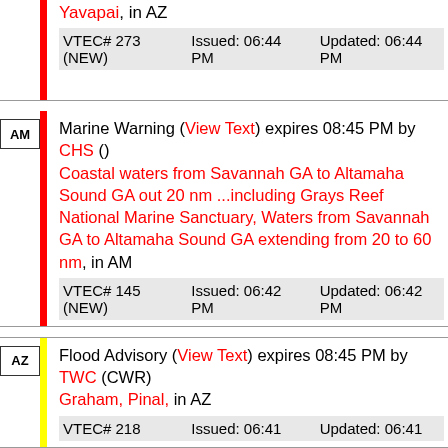Yavapai, in AZ
| VTEC# | Issued | Updated |
| --- | --- | --- |
| VTEC# 273 (NEW) | Issued: 06:44 PM | Updated: 06:44 PM |
Marine Warning (View Text) expires 08:45 PM by CHS () Coastal waters from Savannah GA to Altamaha Sound GA out 20 nm ...including Grays Reef National Marine Sanctuary, Waters from Savannah GA to Altamaha Sound GA extending from 20 to 60 nm, in AM
| VTEC# | Issued | Updated |
| --- | --- | --- |
| VTEC# 145 (NEW) | Issued: 06:42 PM | Updated: 06:42 PM |
Flood Advisory (View Text) expires 08:45 PM by TWC (CWR) Graham, Pinal, in AZ
| VTEC# | Issued | Updated |
| --- | --- | --- |
| VTEC# 218 | Issued: 06:41 | Updated: 06:41 |